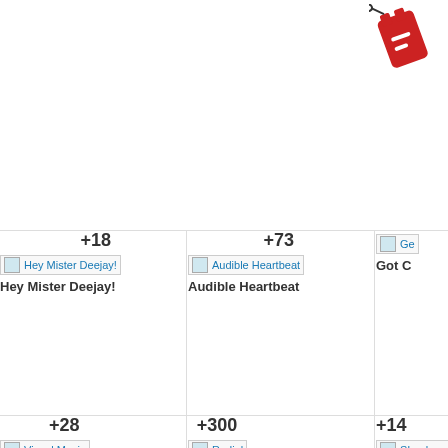[Figure (illustration): Red cartoon icon/logo in top right corner, appears to be a stylized figure or coupon icon]
+18
[Figure (screenshot): Image placeholder for 'Hey Mister Deejay!']
Hey Mister Deejay!
+73
[Figure (screenshot): Image placeholder for 'Audible Heartbeat']
Audible Heartbeat
[Figure (screenshot): Image placeholder partially visible, starting with 'Ge']
Got C
+28
[Figure (screenshot): Image placeholder for 'Visual Music']
+300
[Figure (screenshot): Image placeholder for 'Radial']
+14
[Figure (screenshot): Image placeholder for 'SImple and to']